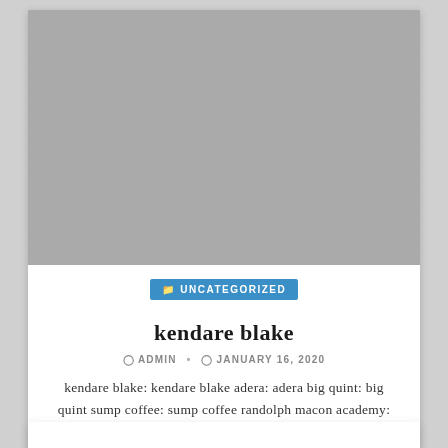[Figure (photo): Gray placeholder image at the top of a blog post card]
UNCATEGORIZED
kendare blake
ADMIN • JANUARY 16, 2020
kendare blake: kendare blake adera: adera big quint: big quint sump coffee: sump coffee randolph macon academy: randolph macon academy...